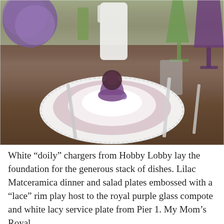[Figure (photo): A beautifully set table featuring stacked plates including white lace-edged doily chargers from Hobby Lobby, lilac Matceramica dinner and salad plates with embossed lace rims, topped with a royal purple glass compote holding a dark rose. Green and purple wine glasses, a white pitcher, silverware, and purple flowers are visible in the background.]
White “doily” chargers from Hobby Lobby lay the foundation for the generous stack of dishes. Lilac Matceramica dinner and salad plates embossed with a “lace” rim play host to the royal purple glass compote and white lacy service plate from Pier 1. My Mom’s Royal